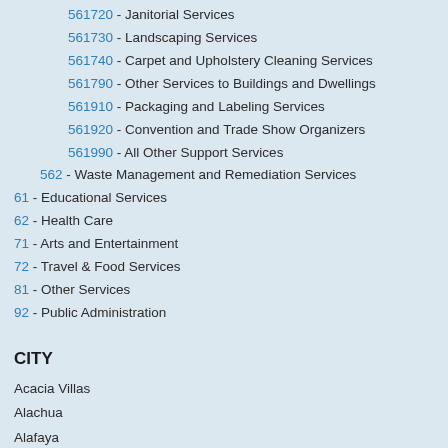561720 - Janitorial Services
561730 - Landscaping Services
561740 - Carpet and Upholstery Cleaning Services
561790 - Other Services to Buildings and Dwellings
561910 - Packaging and Labeling Services
561920 - Convention and Trade Show Organizers
561990 - All Other Support Services
562 - Waste Management and Remediation Services
61 - Educational Services
62 - Health Care
71 - Arts and Entertainment
72 - Travel & Food Services
81 - Other Services
92 - Public Administration
CITY
Acacia Villas
Alachua
Alafaya
Alford town